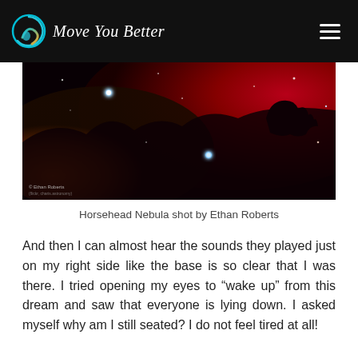Move You Better
[Figure (photo): Horsehead Nebula astrophotography image showing vivid red nebula clouds, dark horsehead silhouette, and bright blue stars against a black starfield. Photo credited to Ethan Roberts.]
Horsehead Nebula shot by Ethan Roberts
And then I can almost hear the sounds they played just on my right side like the base is so clear that I was there. I tried opening my eyes to “wake up” from this dream and saw that everyone is lying down. I asked myself why am I still seated? I do not feel tired at all!